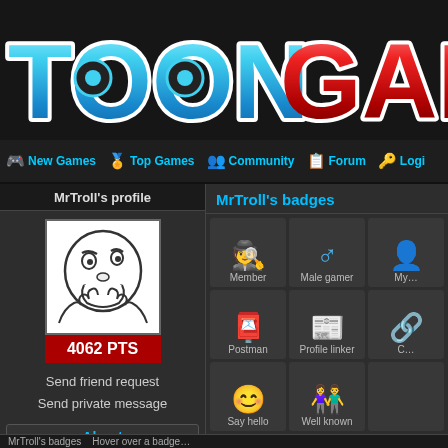[Figure (logo): ToonGames logo with blue and red gradient lettering on dark background]
New Games | Top Games | Community | Forum | Login
MrTroll's profile
[Figure (illustration): Troll face meme avatar image]
4062 PTS
Send friend request
Send private message
About
Gender: Male
Age: 20
Location: United Kingdom
MrTroll's badges
Member
Male gamer
Postman
Profile linker
Say hello
Well known
Star gamer
TG celebrity
MrTroll's badges   Hover over a badge…